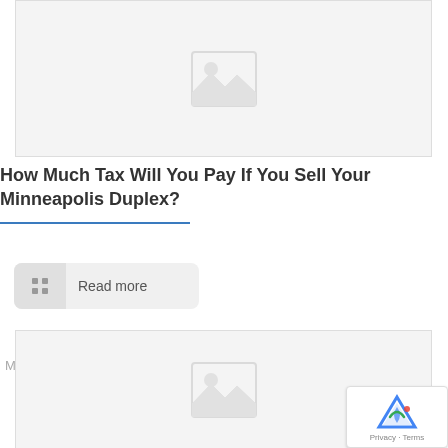[Figure (photo): Image placeholder with mountain/photo icon at the top of a card]
How Much Tax Will You Pay If You Sell Your Minneapolis Duplex?
Read more
May 10, 2022
[Figure (photo): Image placeholder with mountain/photo icon at the top of a second card]